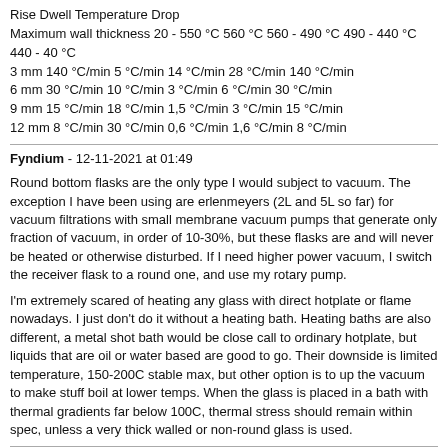| Maximum wall thickness | 20 - 550 °C | 560 °C | 560 - 490 °C | 490 - 440 °C | 440 - 40 °C |
| --- | --- | --- | --- | --- | --- |
| 3 mm | 140 °C/min | 5 °C/min | 14 °C/min | 28 °C/min | 140 °C/min |
| 6 mm | 30 °C/min | 10 °C/min | 3 °C/min | 6 °C/min | 30 °C/min |
| 9 mm | 15 °C/min | 18 °C/min | 1,5 °C/min | 3 °C/min | 15 °C/min |
| 12 mm | 8 °C/min | 30 °C/min | 0,6 °C/min | 1,6 °C/min | 8 °C/min |
Fyndium - 12-11-2021 at 01:49
Round bottom flasks are the only type I would subject to vacuum. The exception I have been using are erlenmeyers (2L and 5L so far) for vacuum filtrations with small membrane vacuum pumps that generate only fraction of vacuum, in order of 10-30%, but these flasks are and will never be heated or otherwise disturbed. If I need higher power vacuum, I switch the receiver flask to a round one, and use my rotary pump.
I'm extremely scared of heating any glass with direct hotplate or flame nowadays. I just don't do it without a heating bath. Heating baths are also different, a metal shot bath would be close call to ordinary hotplate, but liquids that are oil or water based are good to go. Their downside is limited temperature, 150-200C stable max, but other option is to up the vacuum to make stuff boil at lower temps. When the glass is placed in a bath with thermal gradients far below 100C, thermal stress should remain within spec, unless a very thick walled or non-round glass is used.